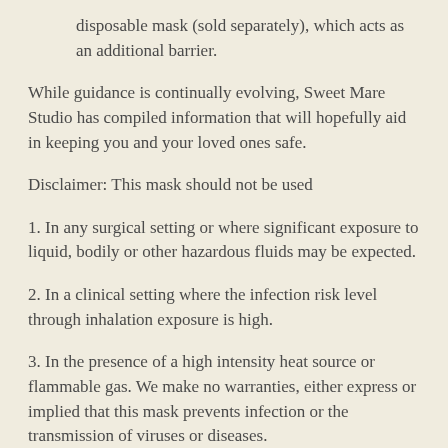disposable mask (sold separately), which acts as an additional barrier.
While guidance is continually evolving, Sweet Mare Studio has compiled information that will hopefully aid in keeping you and your loved ones safe.
Disclaimer: This mask should not be used
1. In any surgical setting or where significant exposure to liquid, bodily or other hazardous fluids may be expected.
2. In a clinical setting where the infection risk level through inhalation exposure is high.
3. In the presence of a high intensity heat source or flammable gas. We make no warranties, either express or implied that this mask prevents infection or the transmission of viruses or diseases.